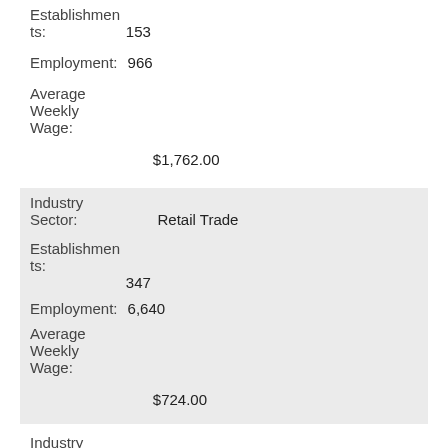Establishments: 153
Employment: 966
Average Weekly Wage: $1,762.00
Industry Sector: Retail Trade
Establishments: 347
Employment: 6,640
Average Weekly Wage: $724.00
Industry Sector: Transportation and Warehousing